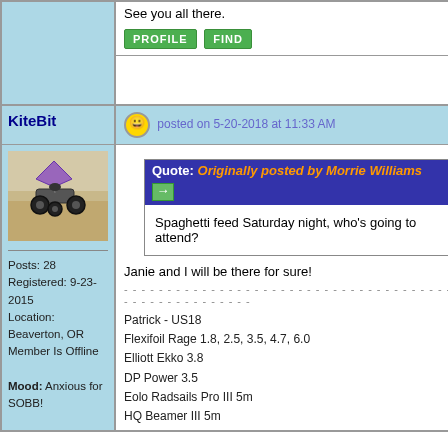See you all there.
[Figure (screenshot): PROFILE and FIND green buttons]
KiteBit
posted on 5-20-2018 at 11:33 AM
[Figure (photo): Avatar photo of a kite buggy on a sandy beach]
Posts: 28
Registered: 9-23-2015
Location: Beaverton, OR
Member Is Offline

Mood: Anxious for SOBB!
Quote: Originally posted by Morrie Williams
Spaghetti feed Saturday night, who's going to attend?
Janie and I will be there for sure!
Patrick - US18
Flexifoil Rage 1.8, 2.5, 3.5, 4.7, 6.0
Elliott Ekko 3.8
DP Power 3.5
Eolo Radsails Pro III 5m
HQ Beamer III 5m